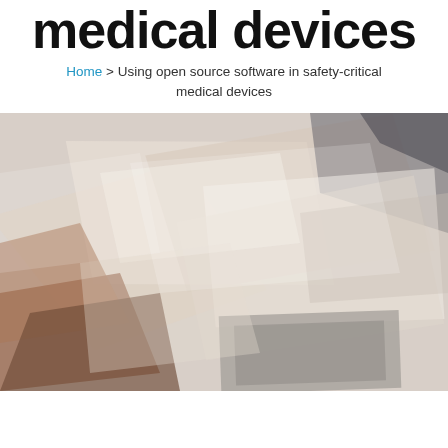medical devices
Home > Using open source software in safety-critical medical devices
[Figure (photo): Abstract photograph of overlapping geometric rectangular shapes in muted beige, brown, white, and gray tones, creating a layered translucent composition.]